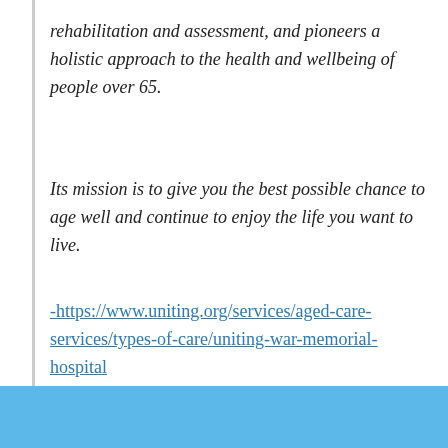rehabilitation and assessment, and pioneers a holistic approach to the health and wellbeing of people over 65.
Its mission is to give you the best possible chance to age well and continue to enjoy the life you want to live.
-https://www.uniting.org/services/aged-care-services/types-of-care/uniting-war-memorial-hospital